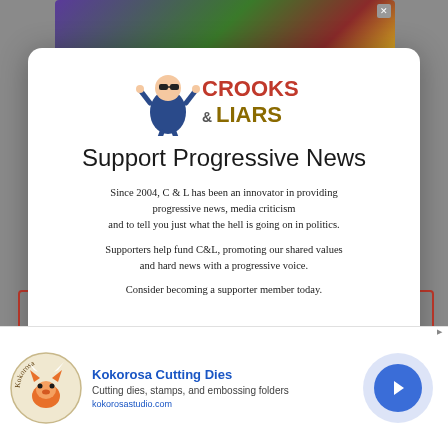[Figure (logo): Crooks and Liars website logo with cartoon character and stylized text]
Support Progressive News
Since 2004, C & L has been an innovator in providing progressive news, media criticism and to tell you just what the hell is going on in politics.
Supporters help fund C&L, promoting our shared values and hard news with a progressive voice.
Consider becoming a supporter member today.
[Figure (advertisement): Kokorosa Cutting Dies advertisement with fox logo, title, description and website URL]